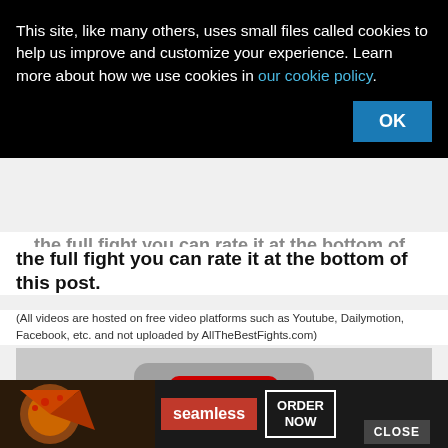This site, like many others, uses small files called cookies to help us improve and customize your experience. Learn more about how we use cookies in our cookie policy.
OK
...the full fight you can rate it at the bottom of this post.
(All videos are hosted on free video platforms such as Youtube, Dailymotion, Facebook, etc. and not uploaded by AllTheBestFights.com)
[Figure (screenshot): YouTube video embed placeholder showing YouTube logo (red rounded rectangle with white play triangle) on a grey background with a CLOSE button overlay]
[Figure (screenshot): Seamless food delivery advertisement banner showing pizza image on left, Seamless red badge in center, and ORDER NOW button on right against dark background]